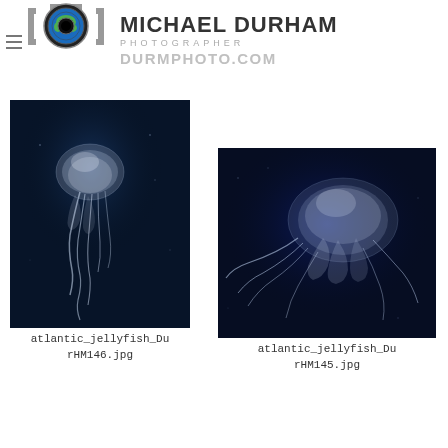[Figure (logo): Michael Durham Photographer logo with camera lens/globe icon and bracket frame, with text MICHAEL DURHAM PHOTOGRAPHER DURMPHOTO.COM]
[Figure (photo): Atlantic jellyfish with translucent white bell and long tentacles against dark deep blue background, portrait orientation]
atlantic_jellyfish_DurHM146.jpg
[Figure (photo): Atlantic jellyfish with blue-white glowing bell and wispy tentacles against dark navy blue background, landscape orientation]
atlantic_jellyfish_DurHM145.jpg